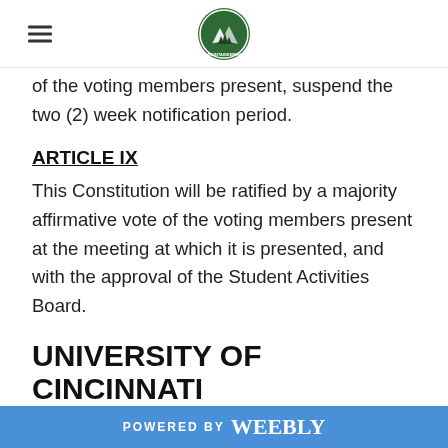of the voting members present, suspend the two (2) week notification period.
ARTICLE IX
This Constitution will be ratified by a majority affirmative vote of the voting members present at the meeting at which it is presented, and with the approval of the Student Activities Board.
UNIVERSITY OF CINCINNATI MOUNTAINEERING CLUB BY-LAWS
POWERED BY weebly